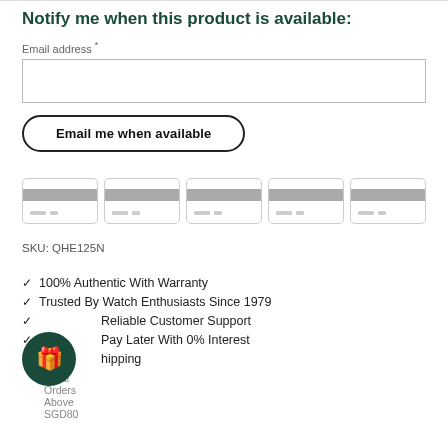Notify me when this product is available:
Email address *
Email me when available
[Figure (other): Five payment card icons in a row, each showing a gray magnetic stripe and two small gray chips at the bottom]
SKU: QHE125N
100% Authentic With Warranty
Trusted By Watch Enthusiasts Since 1979
Reliable Customer Support
Pay Later With 0% Interest
Free Shipping
Local Orders Above SGD80